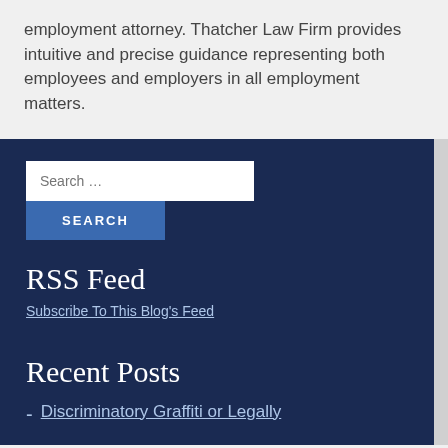employment attorney. Thatcher Law Firm provides intuitive and precise guidance representing both employees and employers in all employment matters.
RSS Feed
Subscribe To This Blog's Feed
Recent Posts
Discriminatory Graffiti or Legally